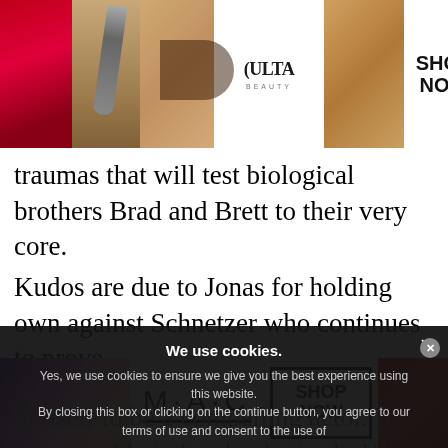[Figure (screenshot): Top advertisement banner showing Ulta Beauty ad with makeup photos (red lips, makeup brush, eye makeup), Ulta Beauty logo, and SHOP NOW button with close X]
traumas that will test biological brothers Brad and Brett to their very core.
Kudos are due to Jonas for holding own against Schnetzer who continues to prove himself to be a compelling acting actor. If you are able to by shocks and more shockettes or What
[Figure (screenshot): Cookie consent overlay with dark semi-transparent background. Title: We use cookies. Body: Yes, we use cookies to ensure we give you the best experience using this website. By closing this box or clicking on the continue button, you agree to our terms of use and consent to the use of]
[Figure (screenshot): Bottom advertisement banner for MAC cosmetics showing colorful lipsticks, MAC logo, SHOP NOW button, and red lipstick. Has close X button.]